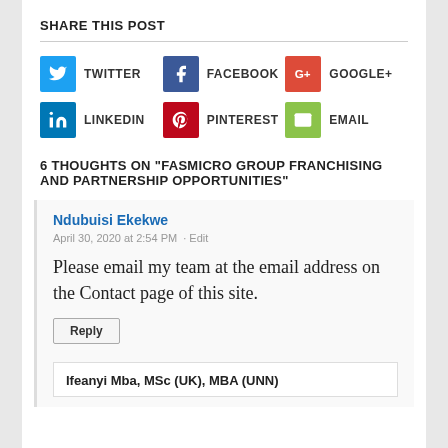SHARE THIS POST
[Figure (infographic): Social sharing buttons: Twitter (blue), Facebook (dark blue), Google+ (red), LinkedIn (blue), Pinterest (red), Email (green)]
6 THOUGHTS ON “FASMICRO GROUP FRANCHISING AND PARTNERSHIP OPPORTUNITIES”
Ndubuisi Ekekwe
April 30, 2020 at 2:54 PM · Edit
Please email my team at the email address on the Contact page of this site.
Reply
Ifeanyi Mba, MSc (UK), MBA (UNN)